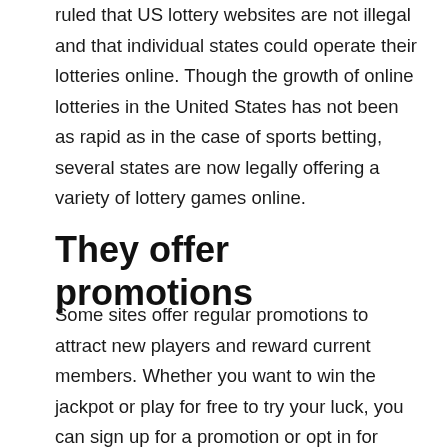ruled that US lottery websites are not illegal and that individual states could operate their lotteries online. Though the growth of online lotteries in the United States has not been as rapid as in the case of sports betting, several states are now legally offering a variety of lottery games online.
They offer promotions
Some sites offer regular promotions to attract new players and reward current members. Whether you want to win the jackpot or play for free to try your luck, you can sign up for a promotion or opt in for marketing materials. In